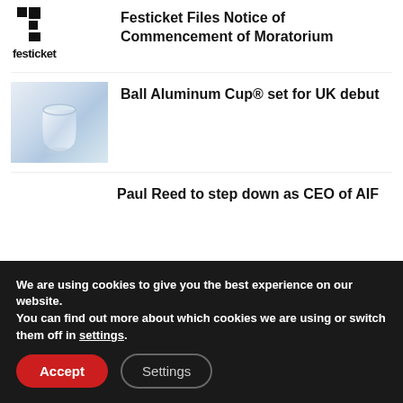[Figure (logo): Festicket logo — stylized F icon on top, text 'festicket' below in bold black]
Festicket Files Notice of Commencement of Moratorium
[Figure (photo): Ball Aluminum Cup product photo — a metallic cup on a light background]
Ball Aluminum Cup® set for UK debut
Paul Reed to step down as CEO of AIF
We are using cookies to give you the best experience on our website.
You can find out more about which cookies we are using or switch them off in settings.
Accept
Settings